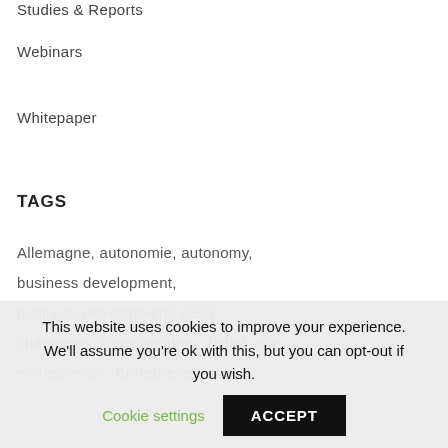Studies & Reports
Webinars
Whitepaper
TAGS
Allemagne, autonomie, autonomy, business development, business development, CEO, champions, Cybersecurity, digital, eca, entreprendre, Entrepreneurship,
This website uses cookies to improve your experience. We'll assume you're ok with this, but you can opt-out if you wish. Cookie settings ACCEPT